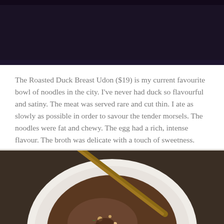[Figure (photo): Top portion of a food photo showing a dark background, partially cropped at top of page.]
The Roasted Duck Breast Udon ($19) is my current favourite bowl of noodles in the city. I've never had duck so flavourful and satiny. The meat was served rare and cut thin. I ate as slowly as possible in order to savour the tender morsels. The noodles were fat and chewy. The egg had a rich, intense flavour. The broth was delicate with a touch of sweetness.
[Figure (photo): Photo of a white bowl containing udon noodles, duck meat, egg, and broth with wooden chopsticks resting on the bowl, viewed from above on a dark wooden table.]